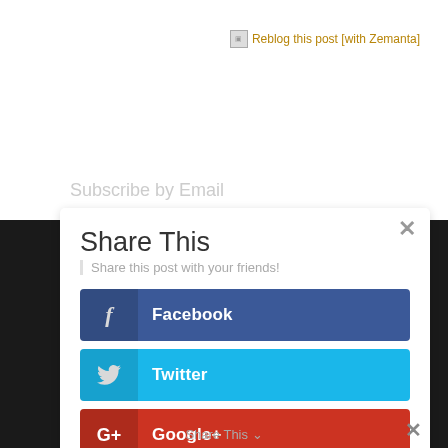[Figure (screenshot): Zemanta reblog image link with alt text 'Reblog this post [with Zemanta]' shown as broken image icon with link text in golden/orange color]
Subscribe by Email
Share This
Share this post with your friends!
Facebook
Twitter
Google+
Buffer
Like
Share This ✕